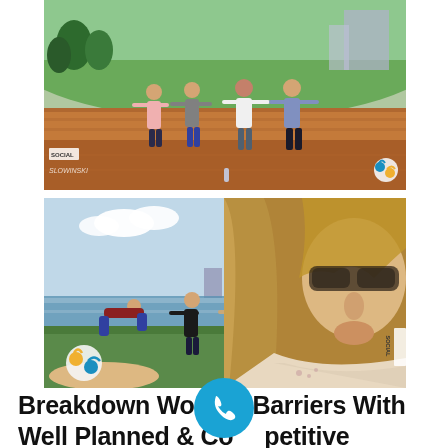[Figure (photo): Four people jumping or posing on an outdoor plaza/amphitheater with arms extended, green grass hill in background, park-like setting, social media watermark bottom-left, logo bottom-right]
[Figure (photo): Close-up of a woman with long blonde hair and dark sunglasses in foreground, group of people posing/dancing on grass near waterfront in background, social media label on right side, logo bottom-left]
Breakdown Work Place Barriers With Well Planned & Competitive Outdoor Team Building Programs